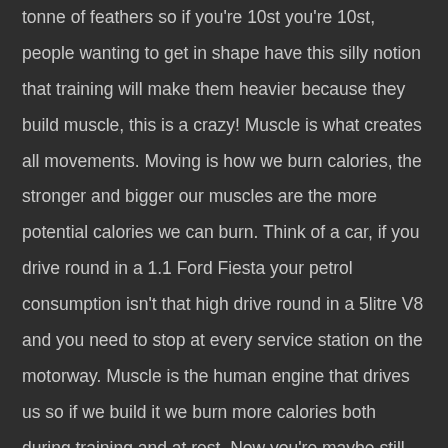tonne of feathers so if you're 10st you're 10st, people wanting to get in shape have this silly notion that training will make them heavier because they build muscle, this is a crazy! Muscle is what creates all movements. Moving is how we burn calories, the stronger and bigger our muscles are the more potential calories we can burn. Think of a car, if you drive round in a 1.1 Ford Fiesta your petrol consumption isn't that high drive round in a 5litre V8 and you need to stop at every service station on the motorway. Muscle is the human engine that drives us so if we build it we burn more calories both during training and at rest. Now you're maybe still thinking I want to be toned not muscular or I want to be smaller if you're a girl. Well here is where the muscle and fat ratio come into play; muscle is denser than fat so 10st of muscle is